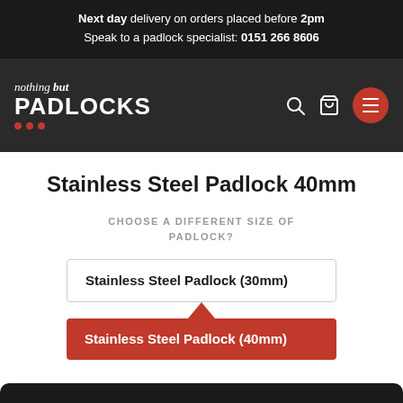Next day delivery on orders placed before 2pm
Speak to a padlock specialist: 0151 266 8606
[Figure (logo): Nothing but PADLOCKS logo with three red dots, white text on dark background with search, bag and hamburger menu icons]
Stainless Steel Padlock 40mm
CHOOSE A DIFFERENT SIZE OF PADLOCK?
Stainless Steel Padlock (30mm)
Stainless Steel Padlock (40mm)